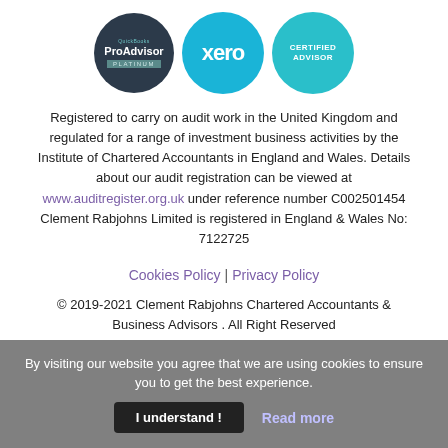[Figure (logo): Three certification logos: QuickBooks ProAdvisor Platinum badge (dark circle), Xero badge (teal circle with 'xero' text), and Xero Certified Advisor badge (teal circle)]
Registered to carry on audit work in the United Kingdom and regulated for a range of investment business activities by the Institute of Chartered Accountants in England and Wales. Details about our audit registration can be viewed at www.auditregister.org.uk under reference number C002501454 Clement Rabjohns Limited is registered in England & Wales No: 7122725
Cookies Policy | Privacy Policy
© 2019-2021 Clement Rabjohns Chartered Accountants & Business Advisors . All Right Reserved
By visiting our website you agree that we are using cookies to ensure you to get the best experience.